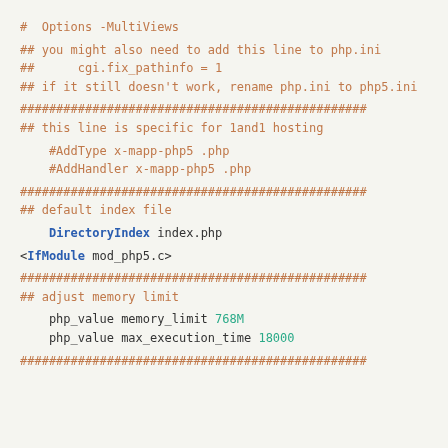#  Options -MultiViews

## you might also need to add this line to php.ini
##      cgi.fix_pathinfo = 1
## if it still doesn't work, rename php.ini to php5.ini

################################################
## this line is specific for 1and1 hosting

    #AddType x-mapp-php5 .php
    #AddHandler x-mapp-php5 .php

################################################
## default index file

    DirectoryIndex index.php

<IfModule mod_php5.c>

################################################
## adjust memory limit

    php_value memory_limit 768M
    php_value max_execution_time 18000

################################################